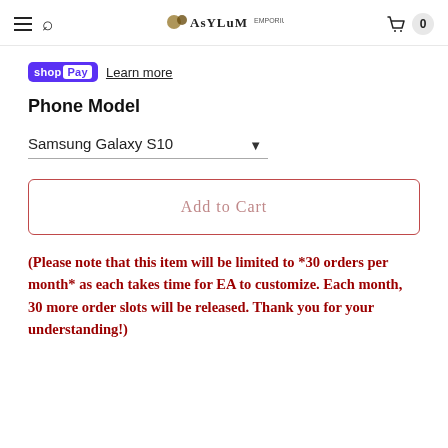Asylum Emporium — navigation header with hamburger menu, search, logo, cart (0)
[Figure (logo): Shop Pay badge with 'shop' in purple and 'Pay' in white-on-purple, followed by 'Learn more' underlined link]
Phone Model
Samsung Galaxy S10 (dropdown selector)
Add to Cart
(Please note that this item will be limited to *30 orders per month* as each takes time for EA to customize. Each month, 30 more order slots will be released. Thank you for your understanding!)